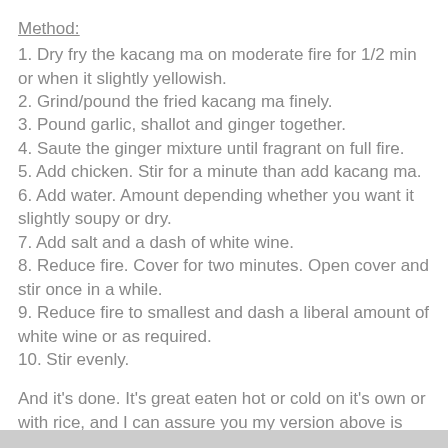Method:
1. Dry fry the kacang ma on moderate fire for 1/2 min or when it slightly yellowish.
2. Grind/pound the fried kacang ma finely.
3. Pound garlic, shallot and ginger together.
4. Saute the ginger mixture until fragrant on full fire.
5. Add chicken. Stir for a minute than add kacang ma.
6. Add water. Amount depending whether you want it slightly soupy or dry.
7. Add salt and a dash of white wine.
8. Reduce fire. Cover for two minutes. Open cover and stir once in a while.
9. Reduce fire to smallest and dash a liberal amount of white wine or as required.
10. Stir evenly.
And it's done. It's great eaten hot or cold on it's own or with rice, and I can assure you my version above is not bitter at all!